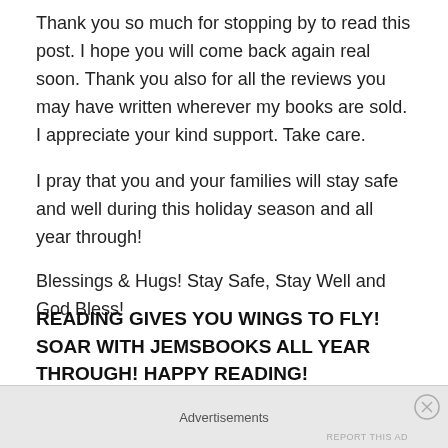Thank you so much for stopping by to read this post. I hope you will come back again real soon. Thank you also for all the reviews you may have written wherever my books are sold. I appreciate your kind support. Take care.
I pray that you and your families will stay safe and well during this holiday season and all year through!
Blessings & Hugs! Stay Safe, Stay Well and God Bless!
READING GIVES YOU WINGS TO FLY! SOAR WITH JEMSBOOKS ALL YEAR THROUGH! HAPPY READING!
Janice Spina aka J.E. Spina
Advertisements